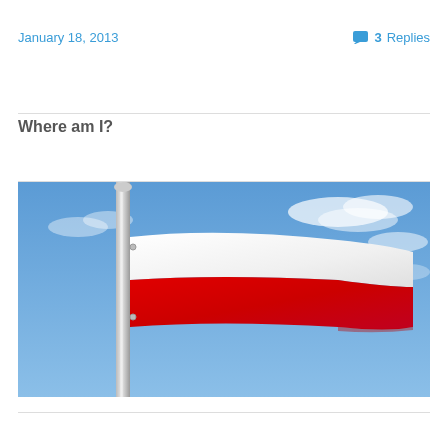January 18, 2013
3 Replies
Where am I?
[Figure (photo): Polish flag waving on a pole against a blue sky with clouds. The flag has white on top and red on the bottom.]